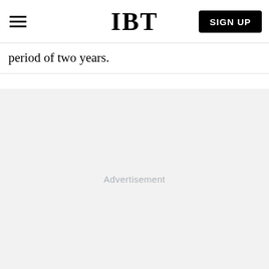IBT
period of two years.
[Figure (other): Advertisement placeholder area with light gray background and centered 'Advertisement' label text.]